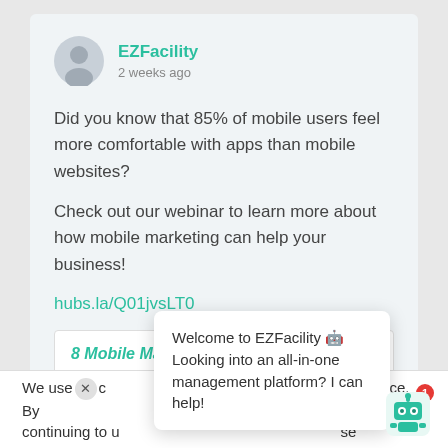EZFacility
2 weeks ago
Did you know that 85% of mobile users feel more comfortable with apps than mobile websites?
Check out our webinar to learn more about how mobile marketing can help your business!
hubs.la/Q01jvsLT0
8 Mobile Marketing Tips for
We use c... ce. By continuing to u... se
Welcome to EZFacility 🤖 Looking into an all-in-one management platform? I can help!
[Figure (illustration): Robot/bot icon with a notification badge showing 1]